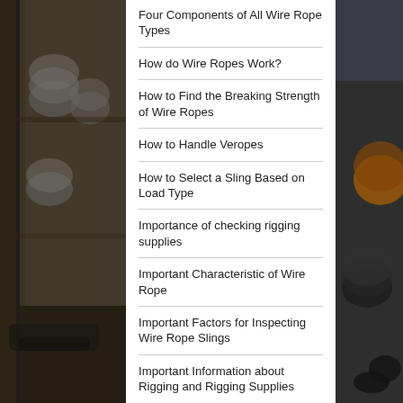[Figure (photo): Industrial warehouse background photo showing spools of wire rope on the left side]
[Figure (photo): Industrial warehouse background photo showing wire rope reels and chains on the right side]
Four Components of All Wire Rope Types
How do Wire Ropes Work?
How to Find the Breaking Strength of Wire Ropes
How to Handle Veropes
How to Select a Sling Based on Load Type
Importance of checking rigging supplies
Important Characteristic of Wire Rope
Important Factors for Inspecting Wire Rope Slings
Important Information about Rigging and Rigging Supplies
Important OSHA Facts About Hoisting and Rigging
Important Wire Rope Inspection for Replacing Wire Ropes